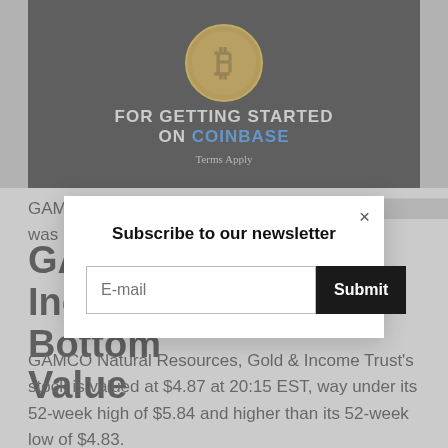[Figure (illustration): Dark advertisement banner for Coinbase showing Bitcoin coin graphics with text 'FOR GETTING STARTED ON COINBASE' and 'Terms Apply']
GAM... lose was...
GA... Inc... Bottom Value
GAMCO Natural Resources, Gold & Income Trust's stock is valued at $4.87 at 20:15 EST, way under its 52-week high of $5.84 and higher than its 52-week low of $4.83.
[Figure (screenshot): Modal popup with 'Subscribe to our newsletter' heading, an E-mail input field, and a Submit button]